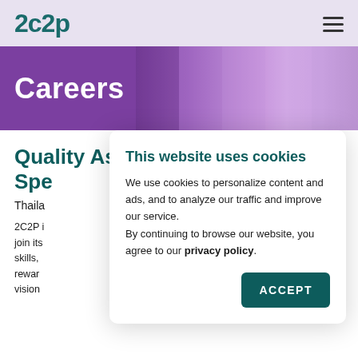2c2p
Careers
Quality Assurance Specialist
Thailand
2C2P is looking for talented individuals to join its team. Those with the right skills, drive and passion will be rewarded with opportunities to grow the vision
This website uses cookies
We use cookies to personalize content and ads, and to analyze our traffic and improve our service.
By continuing to browse our website, you agree to our privacy policy.
ACCEPT